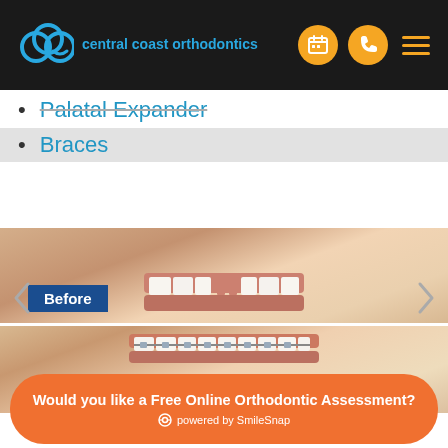central coast orthodontics
Palatal Expander
Braces
[Figure (photo): Before and after comparison photos showing a child's teeth: top half shows misaligned/gapped teeth before treatment (labeled 'Before'), bottom half shows teeth with braces after treatment. Navigation arrows on left and right sides.]
Would you like a Free Online Orthodontic Assessment? powered by SmileSnap